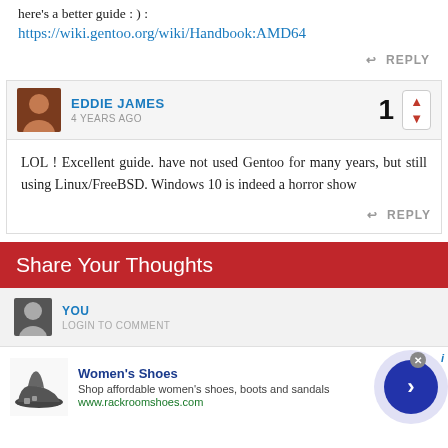here's a better guide : ) :
https://wiki.gentoo.org/wiki/Handbook:AMD64
REPLY
EDDIE JAMES
4 YEARS AGO
1
LOL ! Excellent guide. have not used Gentoo for many years, but still using Linux/FreeBSD. Windows 10 is indeed a horror show
REPLY
Share Your Thoughts
YOU
LOGIN TO COMMENT
Women's Shoes
Shop affordable women's shoes, boots and sandals
www.rackroomshoes.com